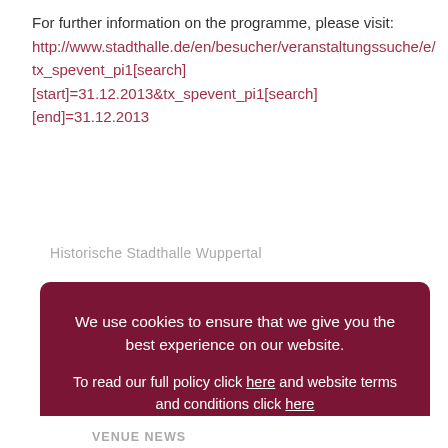For further information on the programme, please visit:
http://www.stadthalle.de/en/besucher/veranstaltungssuche/e/tx_spevent_pi1[search][start]=31.12.2013&tx_spevent_pi1[search][end]=31.12.2013
Historische Stadthalle Wuppertal
We use cookies to ensure that we give you the best experience on our website. To read our full policy click here and website terms and conditions click here
I accept
VENUE NEWS